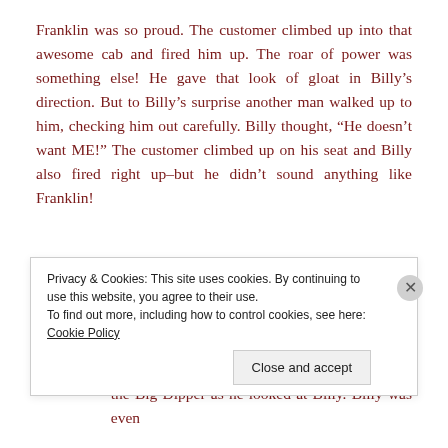Franklin was so proud. The customer climbed up into that awesome cab and fired him up. The roar of power was something else! He gave that look of gloat in Billy's direction. But to Billy's surprise another man walked up to him, checking him out carefully. Billy thought, “He doesn’t want ME!” The customer climbed up on his seat and Billy also fired right up–but he didn’t sound anything like Franklin!
After the sound of their engines ended, Billy heard the man look at Franklin and say, “Oh, yes! I’ll take it!” Franklin had a smile as big as the Big Dipper as he looked at Billy. Billy was even
Privacy & Cookies: This site uses cookies. By continuing to use this website, you agree to their use.
To find out more, including how to control cookies, see here: Cookie Policy